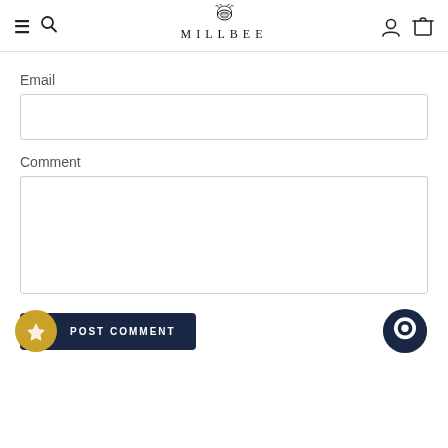MILLBEE
Email
Comment
POST COMMENT